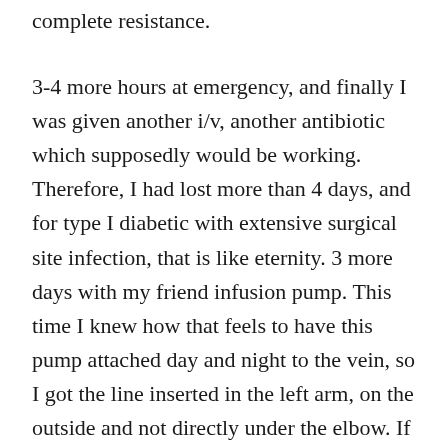complete resistance.
3-4 more hours at emergency, and finally I was given another i/v, another antibiotic which supposedly would be working. Therefore, I had lost more than 4 days, and for type I diabetic with extensive surgical site infection, that is like eternity. 3 more days with my friend infusion pump. This time I knew how that feels to have this pump attached day and night to the vein, so I got the line inserted in the left arm, on the outside and not directly under the elbow. If only my head had been clear enough to follow-up on these antibiotics which I was given! I had told the doctor: cephalosporins DO NOT work. The previous doctor had already found out that. I really regret there does not exist a unified online